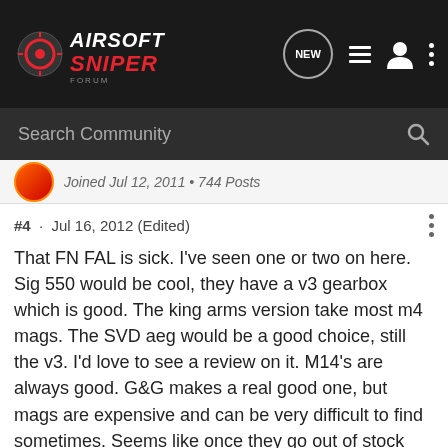[Figure (logo): Airsoft Sniper Forum logo in top navigation bar]
Search Community
Joined Jul 12, 2011 • 744 Posts
#4 · Jul 16, 2012 (Edited)
That FN FAL is sick. I've seen one or two on here. Sig 550 would be cool, they have a v3 gearbox which is good. The king arms version take most m4 mags. The SVD aeg would be a good choice, still the v3. I'd love to see a review on it. M14's are always good. G&G makes a real good one, but mags are expensive and can be very difficult to find sometimes. Seems like once they go out of stock they are gone everywhere for a long time. Cyma makes good affordable guns. I've got a Cyma AKM-74 DMR.
Oh yeah, and welcome to the forum.